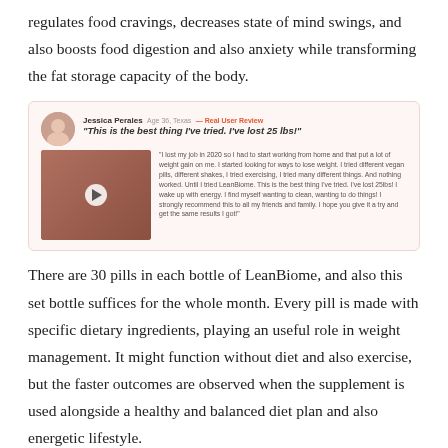regulates food cravings, decreases state of mind swings, and also boosts food digestion and also anxiety while transforming the fat storage capacity of the body.
[Figure (other): User review box showing Jessica Perales from Age 36, Texas with a 'Real User Review' badge. Headline: 'This is the best thing I've tried. I've lost 25 lbs!' with a video thumbnail of a woman and a testimonial review text describing her weight loss experience with LeanBiome.]
There are 30 pills in each bottle of LeanBiome, and also this set bottle suffices for the whole month. Every pill is made with specific dietary ingredients, playing an useful role in weight management. It might function without diet and also exercise, but the faster outcomes are observed when the supplement is used alongside a healthy and balanced diet plan and also energetic lifestyle.
How Does LeanBiome Help in